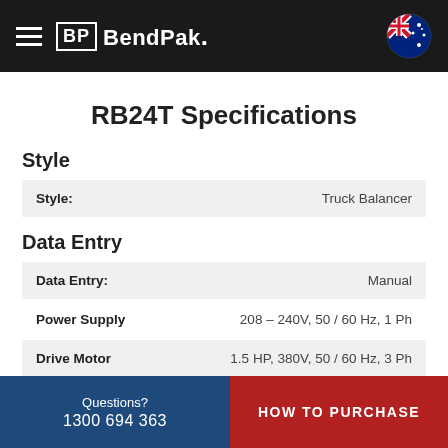BendPak.
RB24T Specifications
Style
| Field | Value |
| --- | --- |
| Style: | Truck Balancer |
Data Entry
| Field | Value |
| --- | --- |
| Data Entry: | Manual |
| Power Supply | 208 – 240V, 50 / 60 Hz, 1 Ph |
| Drive Motor | 1.5 HP, 380V, 50 / 60 Hz, 3 Ph |
Questions? 1300 694 363 | HOW TO PURCHASE